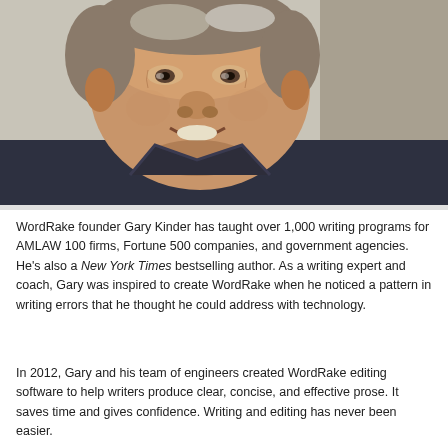[Figure (photo): Close-up portrait photo of a middle-aged man with short gray and brown hair, smiling, wearing a dark gray/navy collared shirt, photographed outdoors with a blurred stone/concrete background.]
WordRake founder Gary Kinder has taught over 1,000 writing programs for AMLAW 100 firms, Fortune 500 companies, and government agencies. He's also a New York Times bestselling author. As a writing expert and coach, Gary was inspired to create WordRake when he noticed a pattern in writing errors that he thought he could address with technology.
In 2012, Gary and his team of engineers created WordRake editing software to help writers produce clear, concise, and effective prose. It saves time and gives confidence. Writing and editing has never been easier.